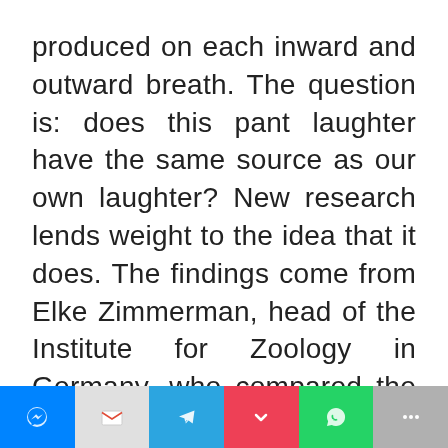produced on each inward and outward breath. The question is: does this pant laughter have the same source as our own laughter? New research lends weight to the idea that it does. The findings come from Elke Zimmerman, head of the Institute for Zoology in Germany, who compared the sounds
Oh Hi there!
It's nice to meet you.

Sign up to receive awesome content in your inbox, every week.